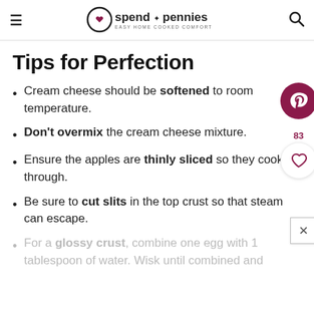spend with pennies — EASY HOME COOKED COMFORT
Tips for Perfection
Cream cheese should be softened to room temperature.
Don't overmix the cream cheese mixture.
Ensure the apples are thinly sliced so they cook through.
Be sure to cut slits in the top crust so that steam can escape.
For a glossy crust, combine one egg with 1 tablespoon of water. Wisk until combined and